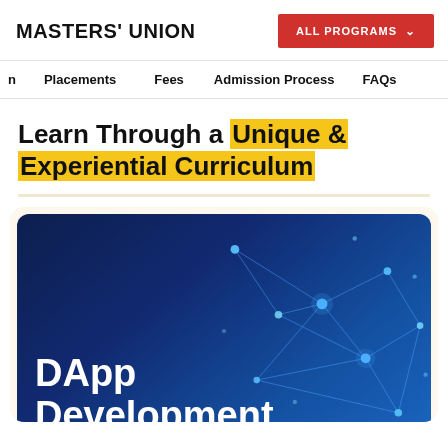MASTERS' UNION
ALL PROGRAMS
n  Placements  Fees  Admission Process  FAQs
Learn Through a Unique & Experiential Curriculum
[Figure (illustration): Dark navy blue card with network/blockchain node graphic on right side and white bold text reading 'DApp Development']